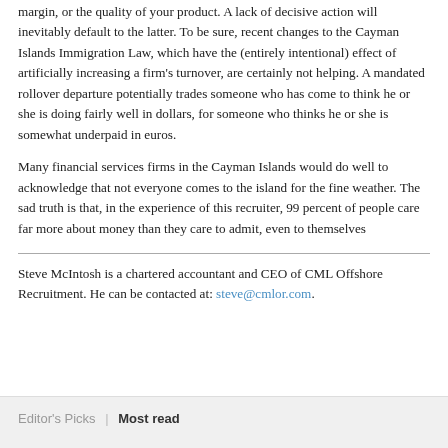margin, or the quality of your product. A lack of decisive action will inevitably default to the latter. To be sure, recent changes to the Cayman Islands Immigration Law, which have the (entirely intentional) effect of artificially increasing a firm's turnover, are certainly not helping. A mandated rollover departure potentially trades someone who has come to think he or she is doing fairly well in dollars, for someone who thinks he or she is somewhat underpaid in euros.
Many financial services firms in the Cayman Islands would do well to acknowledge that not everyone comes to the island for the fine weather. The sad truth is that, in the experience of this recruiter, 99 percent of people care far more about money than they care to admit, even to themselves
Steve McIntosh is a chartered accountant and CEO of CML Offshore Recruitment. He can be contacted at: steve@cmlor.com.
Editor's Picks  |  Most read